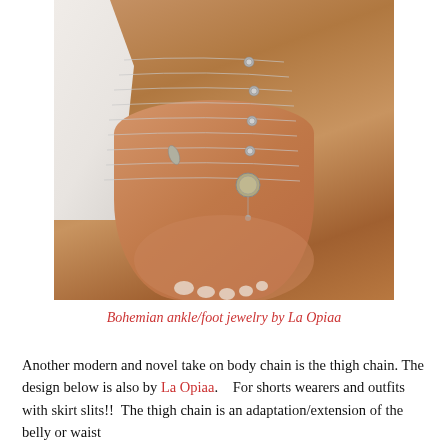[Figure (photo): Close-up photo of a foot on sandy beach wearing bohemian silver ankle and foot jewelry with multiple chains and coin/medallion pendant by La Opiaa. White fabric visible on the left side.]
Bohemian ankle/foot jewelry by La Opiaa
Another modern and novel take on body chain is the thigh chain. The design below is also by La Opiaa.    For shorts wearers and outfits with skirt slits!!  The thigh chain is an adaptation/extension of the belly or waist